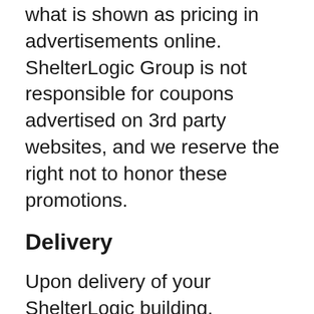what is shown as pricing in advertisements online. ShelterLogic Group is not responsible for coupons advertised on 3rd party websites, and we reserve the right not to honor these promotions.
Delivery
Upon delivery of your ShelterLogic building, carefully inspect all packages. Make note of any missing or damaged packages on the official delivery document that you sign. Be